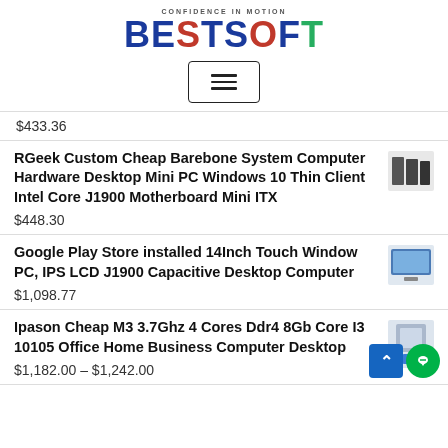[Figure (logo): BESTSOFT logo with tagline CONFIDENCE IN MOTION in military stencil style. Letters colored blue, red, green.]
[Figure (other): Hamburger menu button (three horizontal lines) inside a rounded rectangle border]
$433.36
RGeek Custom Cheap Barebone System Computer Hardware Desktop Mini PC Windows 10 Thin Client Intel Core J1900 Motherboard Mini ITX
$448.30
Google Play Store installed 14Inch Touch Window PC, IPS LCD J1900 Capacitive Desktop Computer
$1,098.77
Ipason Cheap M3 3.7Ghz 4 Cores Ddr4 8Gb Core I3 10105 Office Home Business Computer Desktop
$1,182.00 – $1,242.00